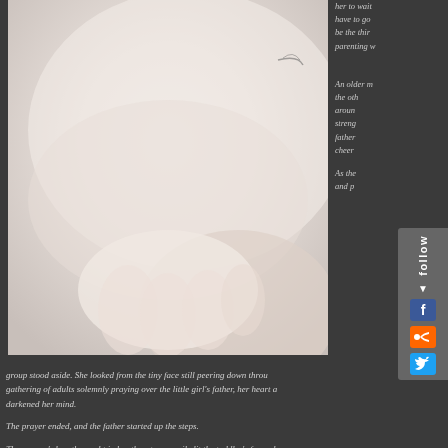[Figure (photo): Close-up photograph of a baby's face and tiny fingers, soft focus with pale skin tones, white background]
her to wait have to go be the thir parenting w

An older m the oth aroun streng father cheer

As the and p
group stood aside. She looked from the tiny face still peering down throu gathering of adults solemnly praying over the little girl's father, her heart a darkened her mind.
The prayer ended, and the father started up the steps.
The woman's breath caught in her throat as a smile lit the toddler's face wher approaching, her little hand reaching out trustingly to take his as he led her ba bedroom door closed and silent moments passed, then muffled thwaps and ca silence. A few minutes later the door opened, letting the sound of the small gir the stairs before they were muffled again as the father emerged, his own eyes